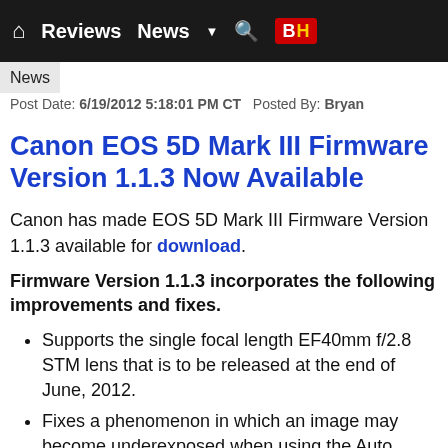Reviews  News  B|H
News
Post Date: 6/19/2012 5:18:01 PM CT   Posted By: Bryan
Canon EOS 5D Mark III Firmware Version 1.1.3 Now Available
Canon has made EOS 5D Mark III Firmware Version 1.1.3 available for download.
Firmware Version 1.1.3 incorporates the following improvements and fixes.
Supports the single focal length EF40mm f/2.8 STM lens that is to be released at the end of June, 2012.
Fixes a phenomenon in which an image may become underexposed when using the Auto